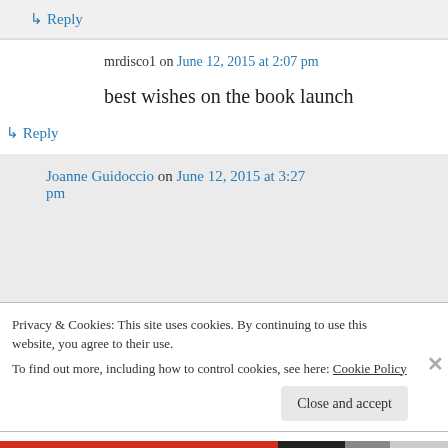↳ Reply
mrdisco1 on June 12, 2015 at 2:07 pm
best wishes on the book launch
↳ Reply
Joanne Guidoccio on June 12, 2015 at 3:27 pm
Privacy & Cookies: This site uses cookies. By continuing to use this website, you agree to their use. To find out more, including how to control cookies, see here: Cookie Policy
Close and accept